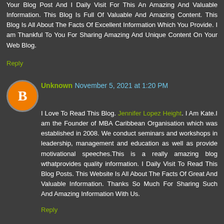Your Blog Post And I Daily Visit For This An Amazing And Valuable Information. This Blog Is Full Of Valuable And Amazing Content. This Blog Is All About The Facts Of Excellent Information Which You Provide. I am Thankful To You For Sharing Amazing And Unique Content On Your Web Blog.
Reply
Unknown November 5, 2021 at 1:20 PM
I Love To Read This Blog. Jennifer Lopez Height. I Am Kate.I am the Founder of MBA Caribbean Organisation which was established in 2008. We conduct seminars and workshops in leadership, management and education as well as provide motivational speeches.This is a really amazing blog wthatprovides quality information. I Daily Visit To Read This Blog Posts. This Website Is All About The Facts Of Great And Valuable Information. Thanks So Much For Sharing Such And Amazing Information With Us.
Reply